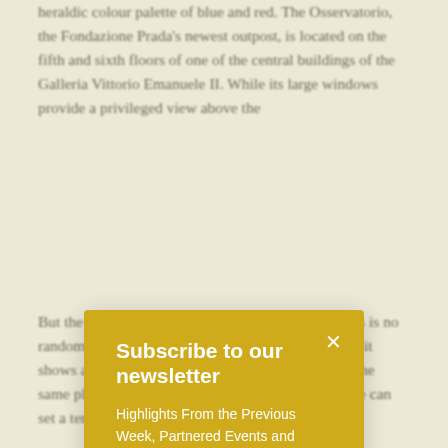heraldic colour palette of blue and red. The Osservatorio, the Fondazione Prada's newest outpost, is located on the fifth and sixth floors of one of the central buildings of the Galleria Vittorio Emanuele II. While its large windows provide a privileged view above the
[Figure (screenshot): Newsletter subscription modal overlay with yellow/gold background. Contains title 'Subscribe to our newsletter', descriptive text about highlights and haikus with a Newsletter archive link, an email input field with submit arrow button, and a close X button.]
But the exact sequence for the 36 images themselves is no random act. "You could say it's reactionary, because it shows a lot of things that are not supposed to be in the same place. With photographs of objects together we can set a temporary order of things," he mused.